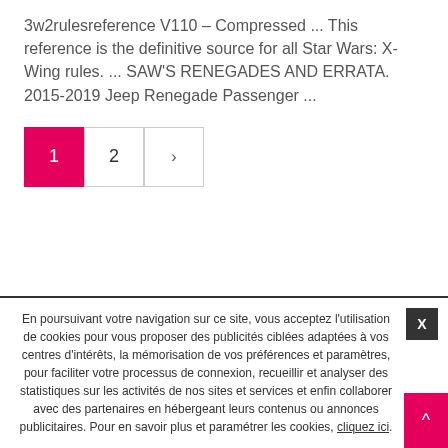3w2rulesreference V110 – Compressed ... This reference is the definitive source for all Star Wars: X-Wing rules. ... SAW'S RENEGADES AND ERRATA. 2015-2019 Jeep Renegade Passenger ...
1  2  >
En poursuivant votre navigation sur ce site, vous acceptez l'utilisation de cookies pour vous proposer des publicités ciblées adaptées à vos centres d'intérêts, la mémorisation de vos préférences et paramètres, pour faciliter votre processus de connexion, recueillir et analyser des statistiques sur les activités de nos sites et services et enfin collaborer avec des partenaires en hébergeant leurs contenus ou annonces publicitaires. Pour en savoir plus et paramétrer les cookies, cliquez ici.